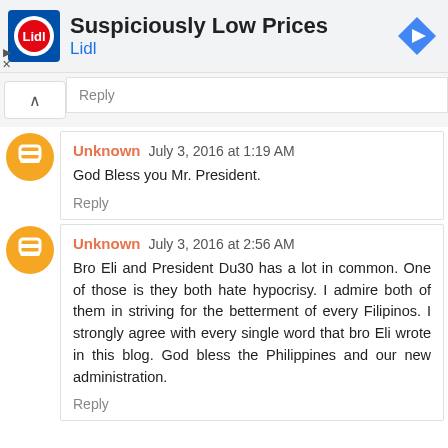[Figure (screenshot): Ad banner for Lidl showing logo, 'Suspiciously Low Prices' headline, 'Lidl' subtext in blue, and a navigation arrow icon on the right]
Reply
Unknown July 3, 2016 at 1:19 AM
God Bless you Mr. President.
Reply
Unknown July 3, 2016 at 2:56 AM
Bro Eli and President Du30 has a lot in common. One of those is they both hate hypocrisy. I admire both of them in striving for the betterment of every Filipinos. I strongly agree with every single word that bro Eli wrote in this blog. God bless the Philippines and our new administration.
Reply